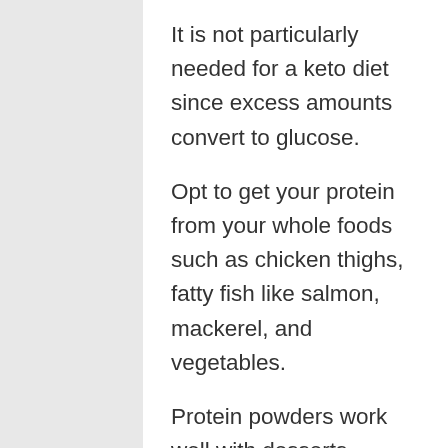It is not particularly needed for a keto diet since excess amounts convert to glucose.
Opt to get your protein from your whole foods such as chicken thighs, fatty fish like salmon, mackerel, and vegetables.
Protein powders work well with desserts, snacks and good to use for keto recipes. Optimum nutrition gold standard 100% whey is one of the popular and best tasting protein powders.